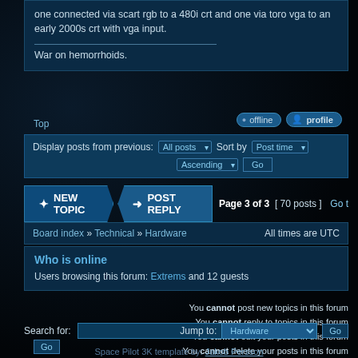one connected via scart rgb to a 480i crt and one via toro vga to an early 2000s crt with vga input.
War on hemorrhoids.
Top
offline   profile
Display posts from previous: All posts ▾  Sort by  Post time ▾  Ascending ▾  Go
* NEW TOPIC  → POST REPLY  Page 3 of 3  [ 70 posts ]  Go t
Board index » Technical » Hardware   All times are UTC
Who is online
Users browsing this forum: Extrems and 12 guests
You cannot post new topics in this forum
You cannot reply to topics in this forum
You cannot edit your posts in this forum
You cannot delete your posts in this forum
Search for:   Go
Jump to: Hardware ▾  Go
Space Pilot 3K template by: Jakob Persson